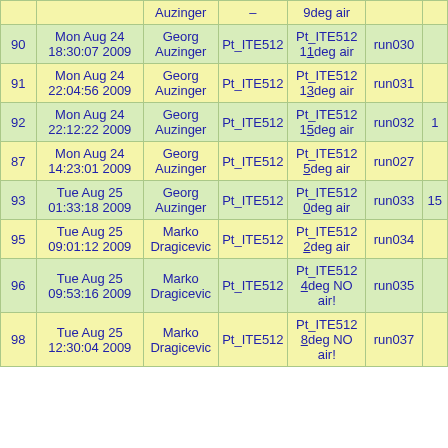| # | Date/Time | User | Sensor | Description | Run |  |
| --- | --- | --- | --- | --- | --- | --- |
|  |  | Auzinger | – | 9deg air |  |  |
| 90 | Mon Aug 24 18:30:07 2009 | Georg Auzinger | Pt_ITE512 | Pt_ITE512 11deg air | run030 |  |
| 91 | Mon Aug 24 22:04:56 2009 | Georg Auzinger | Pt_ITE512 | Pt_ITE512 13deg air | run031 |  |
| 92 | Mon Aug 24 22:12:22 2009 | Georg Auzinger | Pt_ITE512 | Pt_ITE512 15deg air | run032 | 1 |
| 87 | Mon Aug 24 14:23:01 2009 | Georg Auzinger | Pt_ITE512 | Pt_ITE512 5deg air | run027 |  |
| 93 | Tue Aug 25 01:33:18 2009 | Georg Auzinger | Pt_ITE512 | Pt_ITE512 0deg air | run033 | 15 |
| 95 | Tue Aug 25 09:01:12 2009 | Marko Dragicevic | Pt_ITE512 | Pt_ITE512 2deg air | run034 |  |
| 96 | Tue Aug 25 09:53:16 2009 | Marko Dragicevic | Pt_ITE512 | Pt_ITE512 4deg NO air! | run035 |  |
| 98 | Tue Aug 25 12:30:04 2009 | Marko Dragicevic | Pt_ITE512 | Pt_ITE512 8deg NO air! | run037 |  |